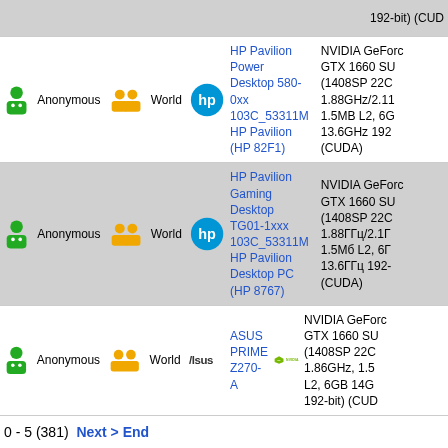| User | Region | System | GPU |
| --- | --- | --- | --- |
| Anonymous | World | HP Pavilion Power Desktop 580-0xx 103C_53311M HP Pavilion (HP 82F1) | NVIDIA GeForce GTX 1660 SU (1408SP 22C 1.88GHz/2.11 1.5MB L2, 6G 13.6GHz 192 (CUDA) |
| Anonymous | World | HP Pavilion Gaming Desktop TG01-1xxx 103C_53311M HP Pavilion Desktop PC (HP 8767) | NVIDIA GeForce GTX 1660 SU (1408SP 22C 1.88ГГц/2.1Г 1.5Мб L2, 6Г 13.6ГГц 192- (CUDA) |
| Anonymous | World | ASUS PRIME Z270-A | NVIDIA GeForce GTX 1660 SU (1408SP 22C 1.86GHz, 1.5 L2, 6GB 14G 192-bit) (CUD |
0 - 5 (381)  Next > End
News | Reviews | Privacy | Licence | Contact
All trademarks acknowledged. Used for identification only under fair use. E.
© SiSoftware 1995-Present. All Rights Reserved.  Original (British) Eng